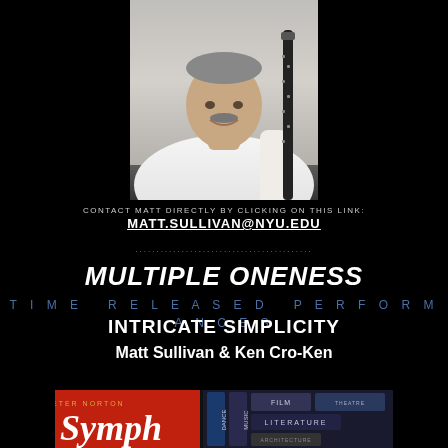[Figure (photo): Man smiling, holding a clarinet or oboe, wearing a white shirt, photographed from waist up against a light background]
CONTACT MATT DIRECTLY BY CLICKING ON THIS LINK:
MATT.SULLIVAN@NYU.EDU
..........................................
MULTIPLE ONENESS
TIME RELEASED PERFORMANCES
INTRICATE SIMPLICITY
Matt Sullivan & Ken Cro-Ken
[Figure (photo): Peter Norton Symphony banner/marquee with colorful signage showing words MUSIC, FILM, LITERATURE and other arts categories]